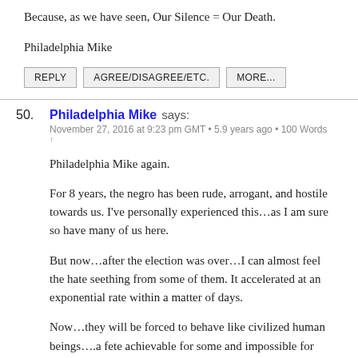Because, as we have seen, Our Silence = Our Death.
Philadelphia Mike
REPLY   AGREE/DISAGREE/ETC.   MORE...
50. Philadelphia Mike says:
November 27, 2016 at 9:23 pm GMT • 5.9 years ago • 100 Words ↑
Philadelphia Mike again.
For 8 years, the negro has been rude, arrogant, and hostile towards us. I've personally experienced this…as I am sure so have many of us here.
But now…after the election was over…I can almost feel the hate seething from some of them. It accelerated at an exponential rate within a matter of days.
Now…they will be forced to behave like civilized human beings….a fete achievable for some and impossible for others.